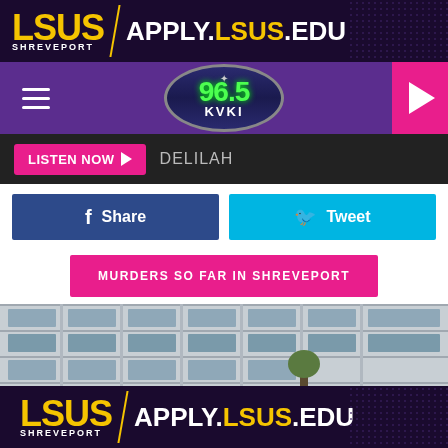[Figure (screenshot): LSUS Shreveport advertisement banner with yellow LSUS text and APPLY.LSUS.EDU in white/yellow on dark purple background]
96.5 KVKI radio station navigation bar with hamburger menu, station logo, and pink play button
LISTEN NOW ▶  DELILAH
[Figure (screenshot): Social sharing buttons: blue Facebook Share button and cyan Twitter Tweet button]
[Figure (screenshot): Pink button reading MURDERS SO FAR IN SHREVEPORT]
[Figure (photo): Photograph of a multi-story office building exterior with glass windows]
[Figure (screenshot): LSUS Shreveport advertisement banner at bottom with yellow LSUS text and APPLY.LSUS.EDU]